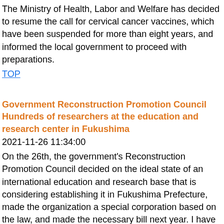The Ministry of Health, Labor and Welfare has decided to resume the call for cervical cancer vaccines, which have been suspended for more than eight years, and informed the local government to proceed with preparations.
TOP
Government Reconstruction Promotion Council Hundreds of researchers at the education and research center in Fukushima
2021-11-26 11:34:00
On the 26th, the government's Reconstruction Promotion Council decided on the ideal state of an international education and research base that is considering establishing it in Fukushima Prefecture, made the organization a special corporation based on the law, and made the necessary bill next year. I have confirmed the policy of submitting to the ordinary Diet.
TOP